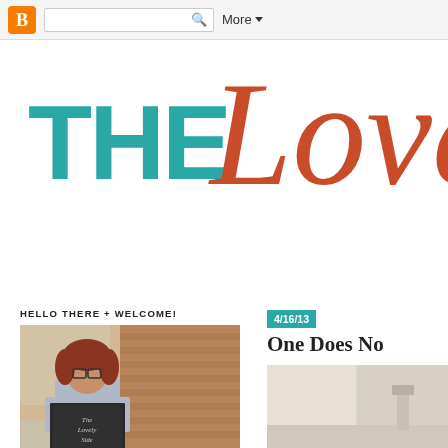Blogger navigation bar with search and More button
THE Love
HELLO THERE + WELCOME!
[Figure (photo): Woman with red hair and glasses holding a chalkboard sign reading 'The Lovely Side', leaning against a brick wall]
4/16/13
One Does No
[Figure (photo): Partial thumbnail image, light beige/cream tones, corner of a room or object]